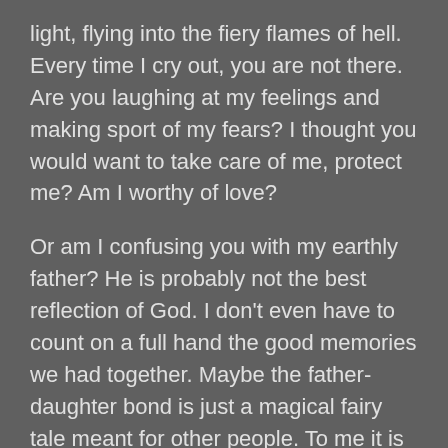light, flying into the fiery flames of hell. Every time I cry out, you are not there. Are you laughing at my feelings and making sport of my fears? I thought you would want to take care of me, protect me? Am I worthy of love?
Or am I confusing you with my earthly father? He is probably not the best reflection of God. I don't even have to count on a full hand the good memories we had together. Maybe the father-daughter bond is just a magical fairy tale meant for other people. To me it is just bondage, another trap I can't get out of without a lot of pain. I don't want to think you are like this God, but it's hard to see you any other way because that is what I was shown.
I labor in vain trying to change my circumstances. Maybe